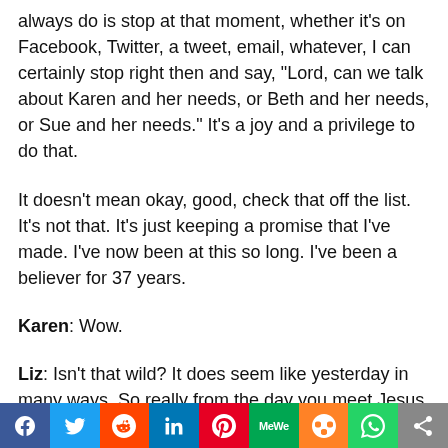always do is stop at that moment, whether it's on Facebook, Twitter, a tweet, email, whatever, I can certainly stop right then and say, “Lord, can we talk about Karen and her needs, or Beth and her needs, or Sue and her needs.” It’s a joy and a privilege to do that.
It doesn’t mean okay, good, check that off the list. It’s not that. It’s just keeping a promise that I’ve made. I’ve now been at this so long. I’ve been a believer for 37 years.
Karen: Wow.
Liz: Isn’t that wild? It does seem like yesterday in many ways. So really from the day you meet Jesus, you’re ministering to people whether you know it
[Figure (other): Social sharing toolbar with buttons for Facebook, Twitter, Reddit, LinkedIn, Pinterest, MeWe, Mix, WhatsApp, and a share icon]